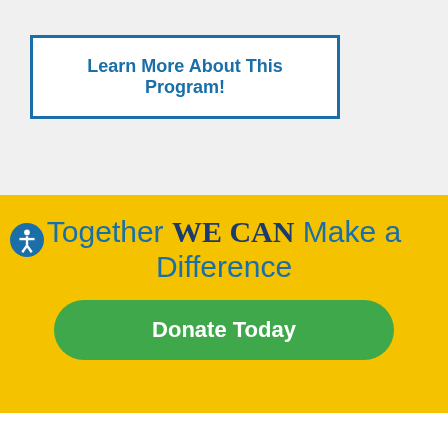Learn More About This Program!
Together WE CAN Make a Difference
Donate Today
[Figure (logo): Partial footer with logos partially visible at bottom of page]